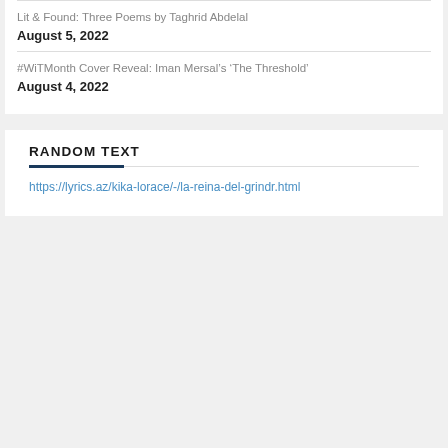Lit & Found: Three Poems by Taghrid Abdelal
August 5, 2022
#WiTMonth Cover Reveal: Iman Mersal’s ‘The Threshold’
August 4, 2022
RANDOM TEXT
https://lyrics.az/kika-lorace/-/la-reina-del-grindr.html